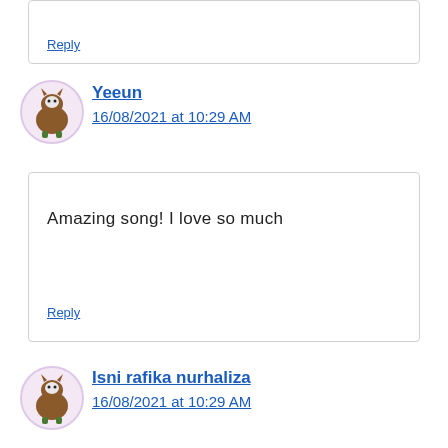Reply
[Figure (illustration): Cartoon avatar of a brown furry creature with horns, used as user profile picture for Yeeun]
Yeeun
16/08/2021 at 10:29 AM
Amazing song! I love so much
Reply
[Figure (illustration): Cartoon avatar of a brown furry creature with horns, used as user profile picture for Isni rafika nurhaliza]
Isni rafika nurhaliza
16/08/2021 at 10:29 AM